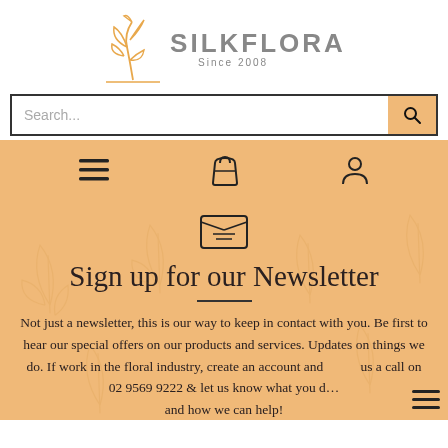[Figure (logo): Silkflora logo with stylized plant/flower sketch and text 'SILKFLORA Since 2008']
Search...
[Figure (other): Navigation bar with hamburger menu icon, shopping bag icon, and user account icon on orange/peach background]
[Figure (other): Email/envelope icon on peach background]
Sign up for our Newsletter
Not just a newsletter, this is our way to keep in contact with you. Be first to hear our special offers on our products and services. Updates on things we do. If work in the floral industry, create an account and us a call on 02 9569 9222 & let us know what you d... and how we can help!